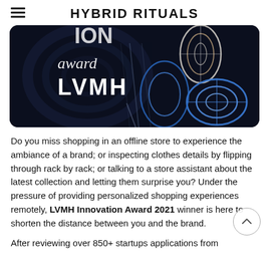HYBRID RITUALS
[Figure (photo): Dark background event photo showing LVMH Innovation Award branding with decorative light-trail floral/geometric ornaments in blue, white and rose-gold colors. Text visible: 'award' (italic), 'LVMH' in large white serif letters.]
Do you miss shopping in an offline store to experience the ambiance of a brand; or inspecting clothes details by flipping through rack by rack; or talking to a store assistant about the latest collection and letting them surprise you? Under the pressure of providing personalized shopping experiences remotely, LVMH Innovation Award 2021 winner is here to shorten the distance between you and the brand.
After reviewing over 850+ startups applications from